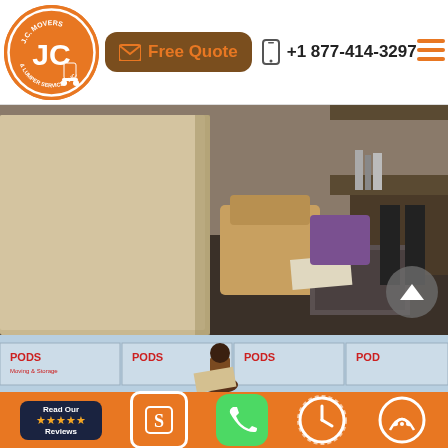[Figure (logo): JC Movers & Lumper Services Inc. circular orange logo with JC initials]
Free Quote
+1 877-414-3297
[Figure (photo): Indoor moving scene with furniture, wooden panels, desk and boxes being moved]
[Figure (photo): Outdoor moving scene with PODS storage containers and a mover carrying items]
[Figure (infographic): Orange footer bar with five icons: Read Our Reviews badge, Square S payment icon, green phone icon, clock icon, and chat icon]